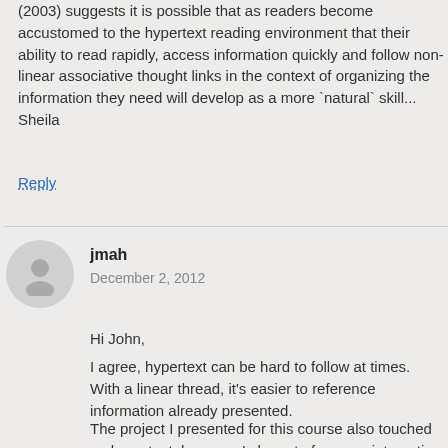(2003) suggests it is possible that as readers become accustomed to the hypertext reading environment that their ability to read rapidly, access information quickly and follow non-linear associative thought links in the context of organizing the information they need will develop as a more `natural` skill...
Sheila
Reply
jmah
December 2, 2012
Hi John,
I agree, hypertext can be hard to follow at times. With a linear thread, it's easier to reference information already presented.
The project I presented for this course also touched on hypertext, however I chose to focus on interactive fiction – with a very different lens than to examine the medium directly. You've given me lots to think about for one lens, the benefits of...